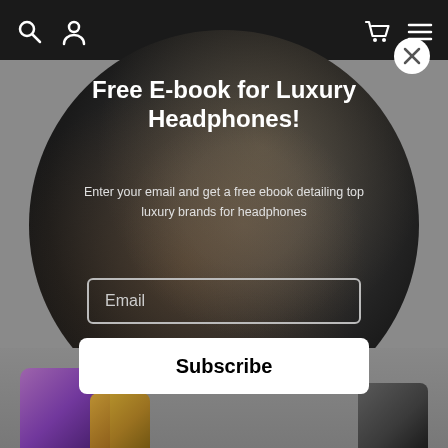[Figure (screenshot): Website popup modal over a headphone product page. Dark circular modal on gray background with navigation bar at top showing search and user icons. The modal contains a title, subtitle text, email input field, and subscribe button. A close (X) button appears top right of the circle.]
Free E-book for Luxury Headphones!
Enter your email and get a free ebook detailing top luxury brands for headphones
Email
Subscribe